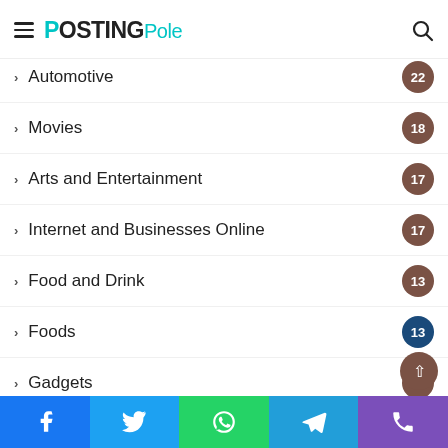PostingPole
Automotive 22
Movies 18
Arts and Entertainment 17
Internet and Businesses Online 17
Food and Drink 13
Foods 13
Gadgets 12
Medical 12
Women's Interests 11
Home Based Business 11
Games